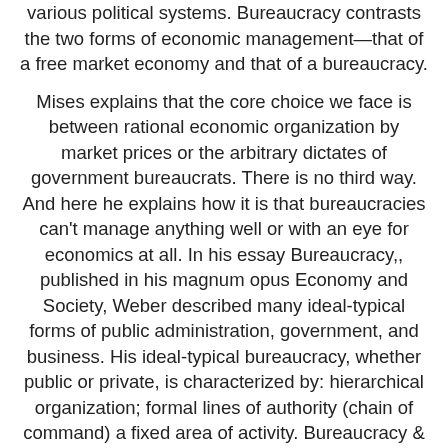various political systems. Bureaucracy contrasts the two forms of economic management—that of a free market economy and that of a bureaucracy.
Mises explains that the core choice we face is between rational economic organization by market prices or the arbitrary dictates of government bureaucrats. There is no third way. And here he explains how it is that bureaucracies can't manage anything well or with an eye for economics at all. In his essay Bureaucracy,, published in his magnum opus Economy and Society, Weber described many ideal-typical forms of public administration, government, and business. His ideal-typical bureaucracy, whether public or private, is characterized by: hierarchical organization; formal lines of authority (chain of command) a fixed area of activity. Bureaucracy & Civil Service: Books 1 - 20 of results 20 40 Best Sellers Newest to Oldest Oldest to